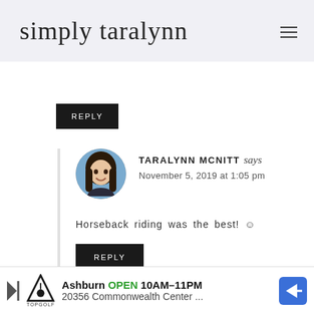simply taralynn
REPLY
[Figure (photo): Circular avatar photo of Taralynn McNitt, a woman with long dark hair, smiling, outdoors]
TARALYNN MCNITT says
November 5, 2019 at 1:05 pm
Horseback riding was the best! ☺
REPLY
[Figure (screenshot): Advertisement banner: Topgolf Ashburn OPEN 10AM-11PM, 20356 Commonwealth Center...]